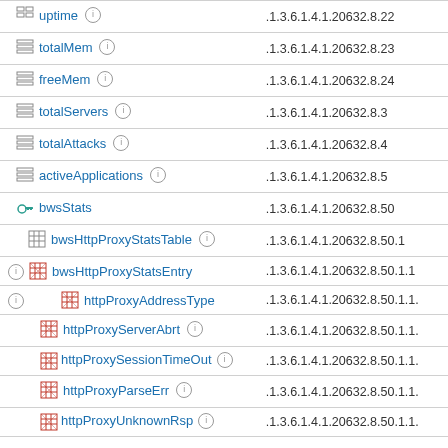| Name | OID |
| --- | --- |
| uptime | .1.3.6.1.4.1.20632.8.22 |
| totalMem | .1.3.6.1.4.1.20632.8.23 |
| freeMem | .1.3.6.1.4.1.20632.8.24 |
| totalServers | .1.3.6.1.4.1.20632.8.3 |
| totalAttacks | .1.3.6.1.4.1.20632.8.4 |
| activeApplications | .1.3.6.1.4.1.20632.8.5 |
| bwsStats | .1.3.6.1.4.1.20632.8.50 |
| bwsHttpProxyStatsTable | .1.3.6.1.4.1.20632.8.50.1 |
| bwsHttpProxyStatsEntry | .1.3.6.1.4.1.20632.8.50.1.1 |
| httpProxyAddressType | .1.3.6.1.4.1.20632.8.50.1.1.x |
| httpProxyServerAbrt | .1.3.6.1.4.1.20632.8.50.1.1.x |
| httpProxySessionTimeOut | .1.3.6.1.4.1.20632.8.50.1.1.x |
| httpProxyParseErr | .1.3.6.1.4.1.20632.8.50.1.1.x |
| httpProxyUnknownRsp | .1.3.6.1.4.1.20632.8.50.1.1.x |